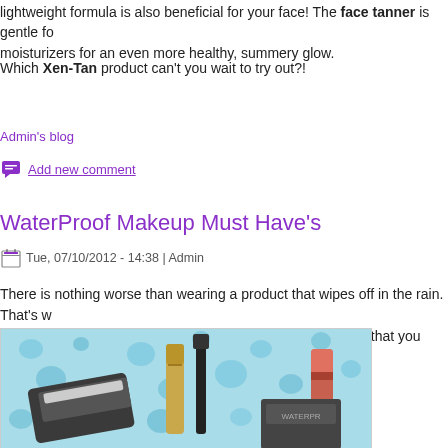lightweight formula is also beneficial for your face! The face tanner is gentle for moisturizers for an even more healthy, summery glow.
Which Xen-Tan product can't you wait to try out?!
Admin's blog
Add new comment
WaterProof Makeup Must Have's
Tue, 07/10/2012 - 14:38 | Admin
There is nothing worse than wearing a product that wipes off in the rain. That's why we're letting you know these absolute must have items that you absolutely
[Figure (photo): Photo of waterproof makeup products (mascara, lipstick, eyeliner) on a wet surface with blue water droplets background]